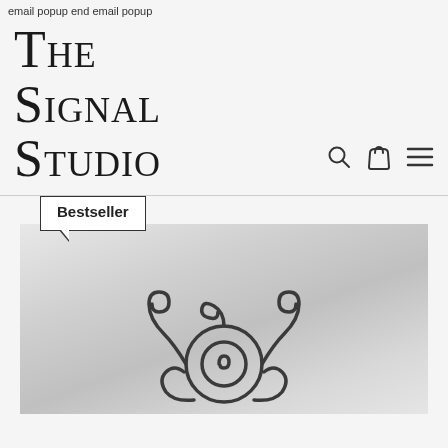email popup end email popup
The Signal Studio
[Figure (screenshot): Navigation icons: search (magnifying glass), cart (bag), and menu (hamburger lines)]
Bestseller
[Figure (photo): Product image with silver/grey gradient background showing a decorative wrought iron scrollwork sign piece at the bottom]